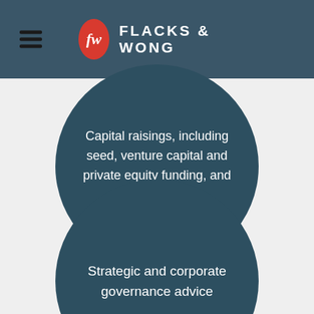FLACKS & WONG
Capital raisings, including seed, venture capital and private equity funding, and IPOs
Strategic and corporate governance advice